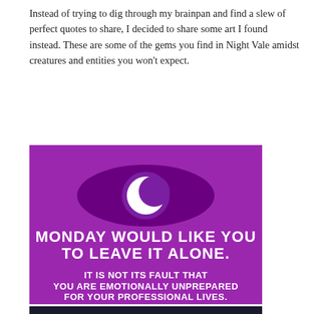Instead of trying to dig through my brainpan and find a slew of perfect quotes to share, I decided to share some art I found instead. These are some of the gems you find in Night Vale amidst creatures and entities you won't expect.
[Figure (illustration): Purple square graphic with a stylized eye (darker purple eye shape with a white crescent moon pupil) at the top, and bold white text reading: MONDAY WOULD LIKE YOU TO LEAVE IT ALONE. IT IS NOT ITS FAULT THAT YOU ARE EMOTIONALLY UNPREPARED FOR YOUR PROFESSIONAL LIVES.]
[Figure (photo): Partial view of a dark/black background image, partially visible at the bottom of the page.]